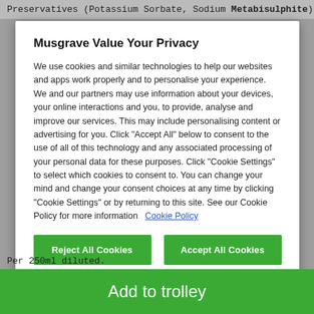Preservatives (Potassium Sorbate, Sodium Metabisulphite)
Musgrave Value Your Privacy
We use cookies and similar technologies to help our websites and apps work properly and to personalise your experience. We and our partners may use information about your devices, your online interactions and you, to provide, analyse and improve our services. This may include personalising content or advertising for you. Click “Accept All” below to consent to the use of all of this technology and any associated processing of your personal data for these purposes. Click “Cookie Settings” to select which cookies to consent to. You can change your mind and change your consent choices at any time by clicking “Cookie Settings” or by returning to this site. See our Cookie Policy for more information  Cookie Policy
Reject All Cookies
Accept All Cookies
Cookies Settings
Per 250ml diluted.
Add to trolley